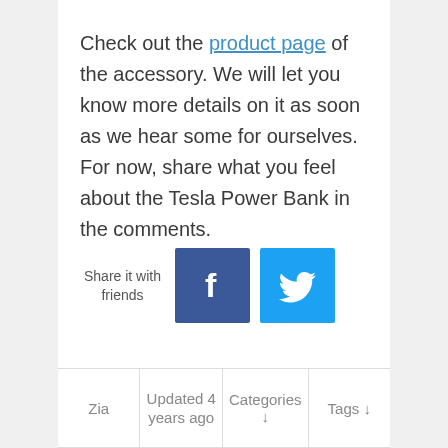Check out the product page of the accessory. We will let you know more details on it as soon as we hear some for ourselves. For now, share what you feel about the Tesla Power Bank in the comments.
[Figure (infographic): Share it with friends buttons: Facebook (blue square with f logo) and Twitter (light blue square with bird logo)]
| Zia | Updated 4 years ago | Categories ↓ | Tags ↓ |
| --- | --- | --- | --- |